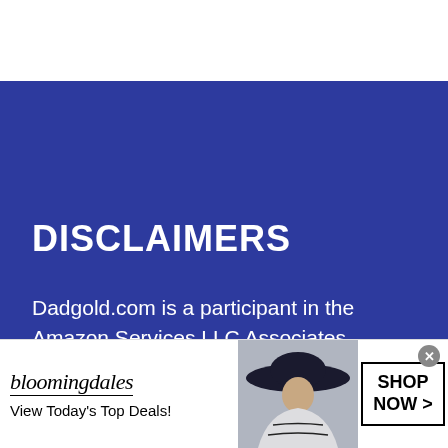DISCLAIMERS
Dadgold.com is a participant in the Amazon Services LLC Associates Program, an affiliate advertising
[Figure (infographic): Bloomingdales advertisement banner with logo, 'View Today's Top Deals!' tagline, woman in wide-brim hat, and 'SHOP NOW >' button]